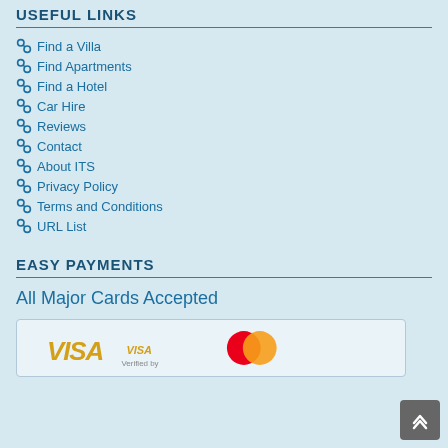USEFUL LINKS
Find a Villa
Find Apartments
Find a Hotel
Car Hire
Reviews
Contact
About ITS
Privacy Policy
Terms and Conditions
URL List
EASY PAYMENTS
All Major Cards Accepted
[Figure (illustration): Credit card logos: Visa, Verified by Visa, Mastercard shown inside a bordered box]